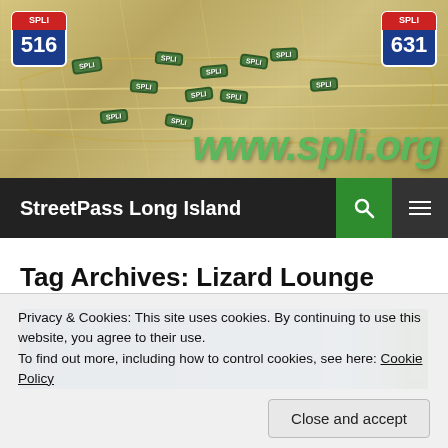[Figure (map): SPLI (StreetPass Long Island) banner image showing a map of Long Island with SPLI badges/icons placed at various locations, interstate shields showing 516 and 631, and www.spli.org text in green italic]
StreetPass Long Island
Tag Archives: Lizard Lounge
[Figure (photo): Partially visible thumbnail image with blue tones on left and dark green on right]
Privacy & Cookies: This site uses cookies. By continuing to use this website, you agree to their use.
To find out more, including how to control cookies, see here: Cookie Policy
Close and accept